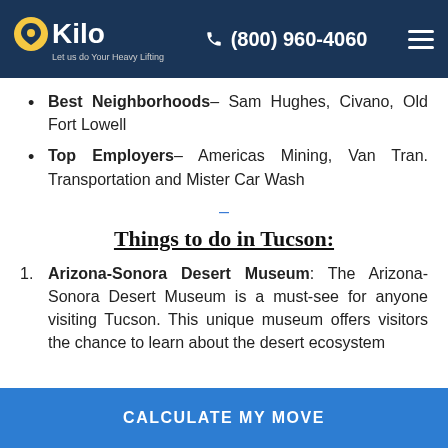Kilo – Let us do Your Heavy Lifting | (800) 960-4060
Best Neighborhoods– Sam Hughes, Civano, Old Fort Lowell
Top Employers– Americas Mining, Van Tran. Transportation and Mister Car Wash
Things to do in Tucson:
Arizona-Sonora Desert Museum: The Arizona-Sonora Desert Museum is a must-see for anyone visiting Tucson. This unique museum offers visitors the chance to learn about the desert ecosystem
CALCULATE MY MOVE